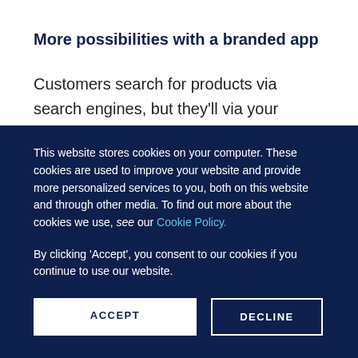More possibilities with a branded app
Customers search for products via search engines, but they'll via your branded app if you have one. ROPO measurements can offer even more value with your own app due to other possibilities web doesn't offer. For example, a mobile app can automatically check in a user when they enter one of
This website stores cookies on your computer. These cookies are used to improve your website and provide more personalized services to you, both on this website and through other media. To find out more about the cookies we use, see our Cookie Policy.
By clicking 'Accept', you consent to our cookies if you continue to use our website.